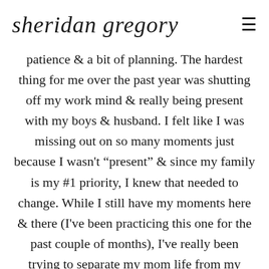sheridan gregory
patience & a bit of planning. The hardest thing for me over the past year was shutting off my work mind & really being present with my boys & husband. I felt like I was missing out on so many moments just because I wasn't "present" & since my family is my #1 priority, I knew that needed to change. While I still have my moments here & there (I've been practicing this one for the past couple of months), I've really been trying to separate my mom life from my work life & I can see such a difference in everyone's moods. I love putting my phone away & concentrating 100% on my boys! I